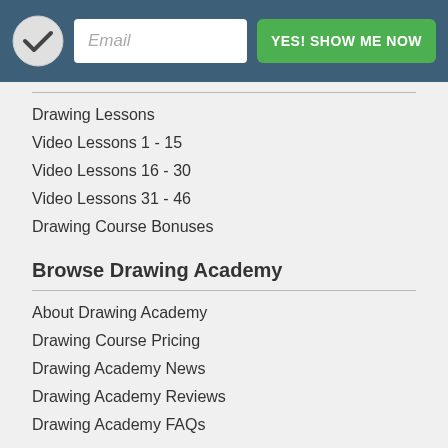[Figure (logo): Logo circle with M/checkmark icon on dark teal header bar]
Email
YES! SHOW ME NOW
Drawing Lessons
Video Lessons 1 - 15
Video Lessons 16 - 30
Video Lessons 31 - 46
Drawing Course Bonuses
Browse Drawing Academy
About Drawing Academy
Drawing Course Pricing
Drawing Academy News
Drawing Academy Reviews
Drawing Academy FAQs
Legal & Support
Customer Support
Terms of Use